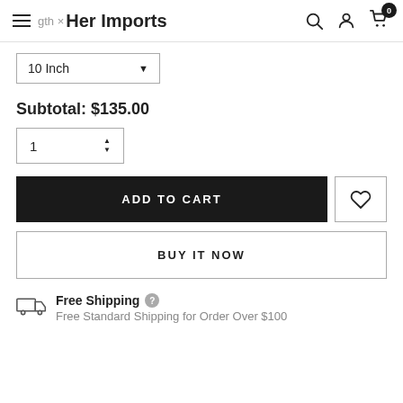Her Imports
10 Inch
Subtotal: $135.00
1
ADD TO CART
BUY IT NOW
Free Shipping
Free Standard Shipping for Order Over $100